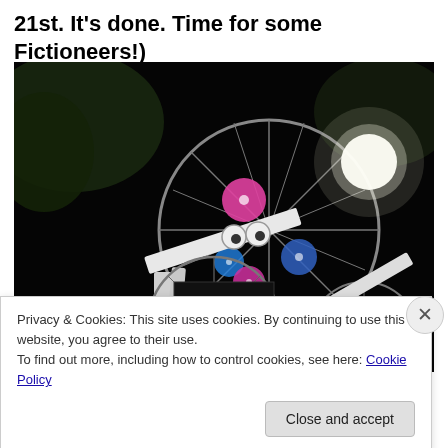21st. It's done. Time for some Fictioneers!)
[Figure (photo): Night-time photo of a large sculptural machine made from bicycle wheels and white-painted metal frames, with colorful CDs attached to the spokes, illuminated by a bright light.]
Privacy & Cookies: This site uses cookies. By continuing to use this website, you agree to their use.
To find out more, including how to control cookies, see here: Cookie Policy